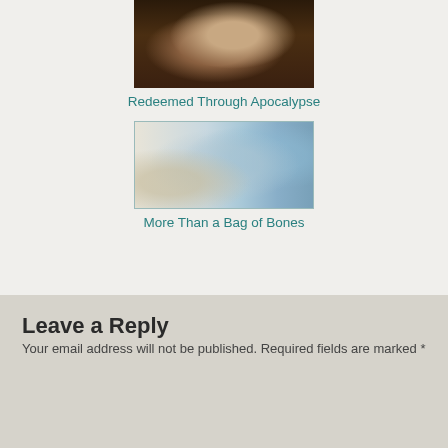[Figure (photo): Person praying or thinking with hands clasped, dark background]
Redeemed Through Apocalypse
[Figure (photo): Blurred interior hallway or lobby scene with light blue glass partitions]
More Than a Bag of Bones
Leave a Reply
Your email address will not be published. Required fields are marked *